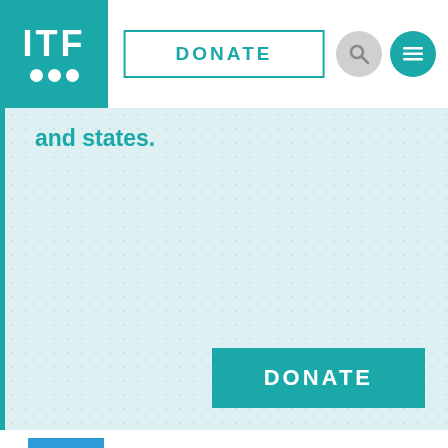ITF logo, DONATE button, search and menu icons
and states.
DONATE
@ITFsi: Today we observe #WorldHumanitarianDay. 🌍 It's a day to r
*The designation Kosovo is without prejudice to positions on status, and is in line with UNSC 1244 and the ICJ Opinion on the Kosovo declaration of independence.
News  Open Calls  Press  Contacts  Terms and conditions